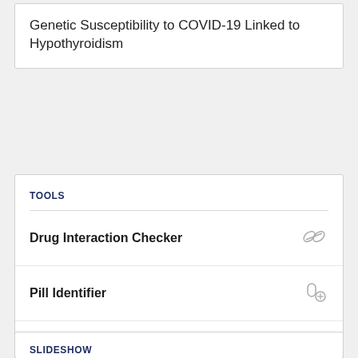Genetic Susceptibility to COVID-19 Linked to Hypothyroidism
TOOLS
Drug Interaction Checker
Pill Identifier
Calculators
Formulary
SLIDESHOW